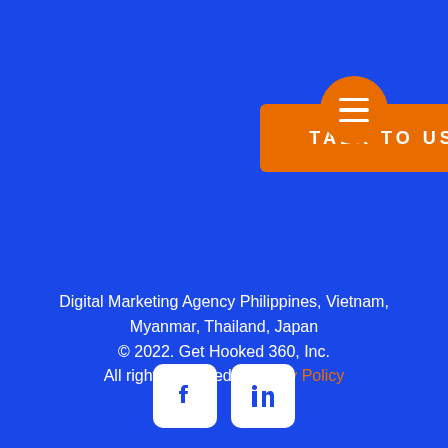[Figure (other): Orange rounded rectangle button with white uppercase text 'TALK TO US' in letter-spaced bold font]
[Figure (other): Orange circular hamburger menu icon with three white horizontal lines]
Digital Marketing Agency Philippines, Vietnam, Myanmar, Thailand, Japan © 2022. Get Hooked 360, Inc. All rights reserved | Privacy Policy
[Figure (other): Facebook and LinkedIn social media icons in white rounded square boxes]